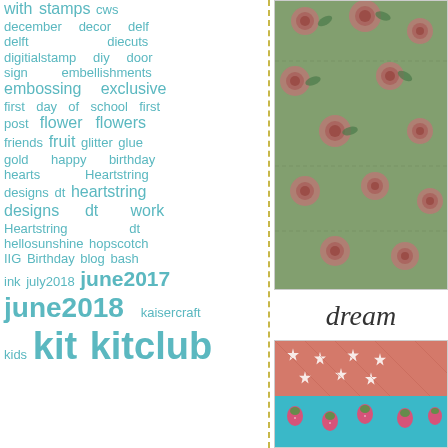with stamps cws december decor delf delft diecuts digitialstamp diy door sign embellishments embossing exclusive first day of school first post flower flowers friends fruit glitter glue gold happy birthday hearts Heartstring designs dt heartstring designs dt work Heartstring dt hellosunshine hopscotch IIG Birthday blog bash ink july2018 june2017 june2018 kaisercraft kids kit kitclub
[Figure (photo): Green/sage fabric with pink rose floral pattern, quilted texture]
dream
[Figure (photo): Two fabric swatches: top is salmon/coral with white star/flower pattern, bottom is teal/turquoise with pink fruit/strawberry pattern]